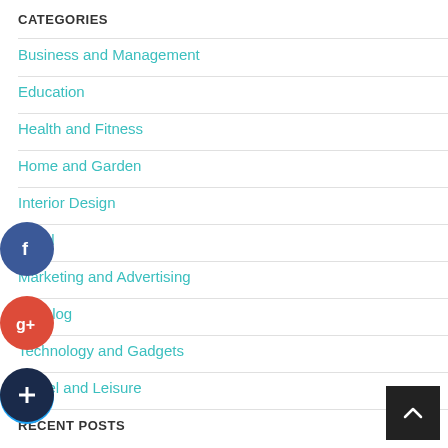CATEGORIES
Business and Management
Education
Health and Fitness
Home and Garden
Interior Design
Legal
Marketing and Advertising
My Blog
Technology and Gadgets
Travel and Leisure
RECENT POSTS